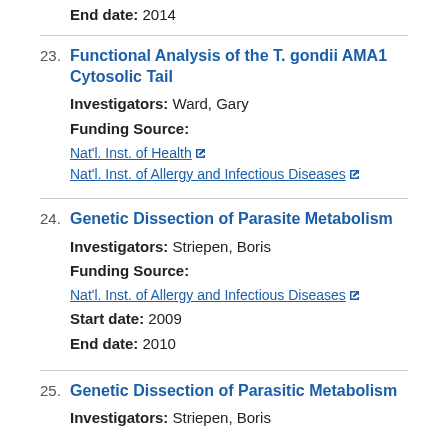End date: 2014
23. Functional Analysis of the T. gondii AMA1 Cytosolic Tail
Investigators: Ward, Gary
Funding Source:
Nat'l. Inst. of Health
Nat'l. Inst. of Allergy and Infectious Diseases
24. Genetic Dissection of Parasite Metabolism
Investigators: Striepen, Boris
Funding Source:
Nat'l. Inst. of Allergy and Infectious Diseases
Start date: 2009
End date: 2010
25. Genetic Dissection of Parasitic Metabolism
Investigators: Striepen, Boris